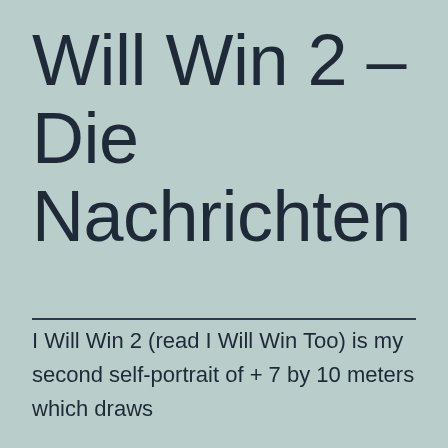Will Win 2 – Die Nachrichten
I Will Win 2 (read I Will Win Too) is my second self-portrait of + 7 by 10 meters which draws